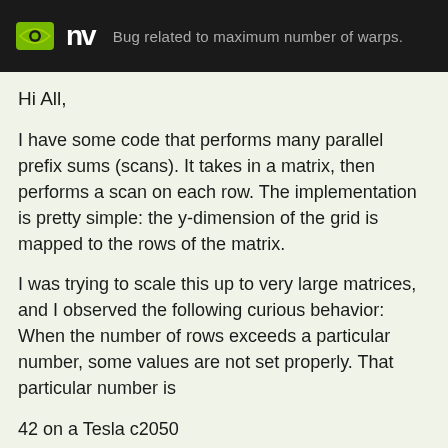Bug related to maximum number of warps.
Hi All,
I have some code that performs many parallel prefix sums (scans). It takes in a matrix, then performs a scan on each row. The implementation is pretty simple: the y-dimension of the grid is mapped to the rows of the matrix.
I was trying to scale this up to very large matrices, and I observed the following curious behavior: When the number of rows exceeds a particular number, some values are not set properly. That particular number is
42 on a Tesla c2050
60 on a GTX285.
No errors are thrown and i'm well under the max grid dimensions. Even so, the fact that the number is different on different pieces of hardware makes me think that it's some hardware limit. I think it might be related to the maximum number of warps.